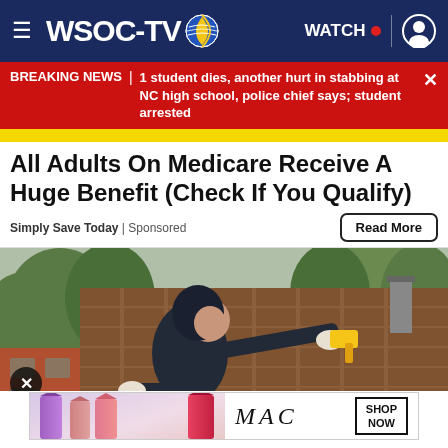WSOC-TV | WATCH
BREAKING NEWS | 1 student dies, another hurt in stabbing at NC high school, police chief says; student arrested
All Adults On Medicare Receive A Huge Benefit (Check If You Qualify)
Simply Save Today | Sponsored
[Figure (photo): Person in dark hoodie working on a shingled roof with a tool, trees and brick house visible in background]
[Figure (photo): MAC cosmetics advertisement showing lipsticks with SHOP NOW button]